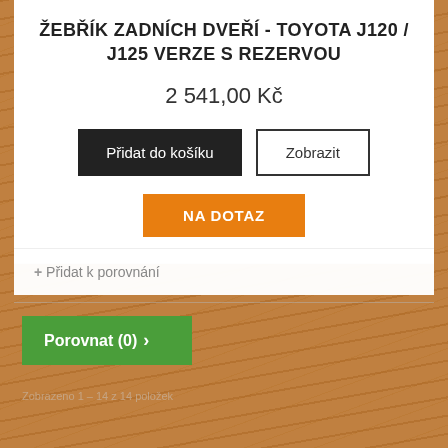ŽEBŘÍK ZADNÍCH DVEŘÍ - TOYOTA J120 / J125 VERZE S REZERVOU
2 541,00 Kč
Přidat do košíku
Zobrazit
NA DOTAZ
+ Přidat k porovnání
Porovnat (0) ›
Zobrazeno 1 – 14 z 14 položek